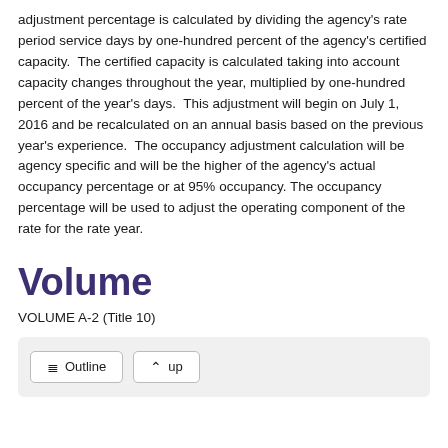adjustment percentage is calculated by dividing the agency's rate period service days by one-hundred percent of the agency's certified capacity.  The certified capacity is calculated taking into account capacity changes throughout the year, multiplied by one-hundred percent of the year's days.  This adjustment will begin on July 1, 2016 and be recalculated on an annual basis based on the previous year's experience.  The occupancy adjustment calculation will be agency specific and will be the higher of the agency's actual occupancy percentage or at 95% occupancy. The occupancy percentage will be used to adjust the operating component of the rate for the rate year.
Volume
VOLUME A-2 (Title 10)